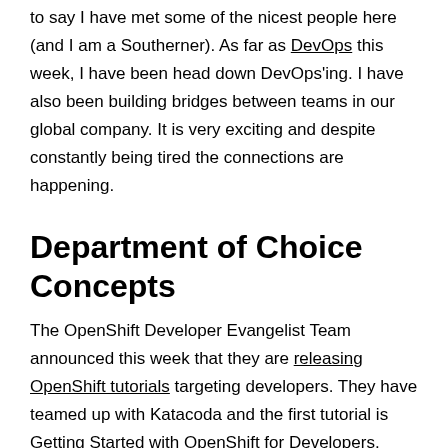to say I have met some of the nicest people here (and I am a Southerner). As far as DevOps this week, I have been head down DevOps'ing. I have also been building bridges between teams in our global company. It is very exciting and despite constantly being tired the connections are happening.
Department of Choice Concepts
The OpenShift Developer Evangelist Team announced this week that they are releasing OpenShift tutorials targeting developers. They have teamed up with Katacoda and the first tutorial is Getting Started with OpenShift for Developers.
philippta has released a handful or two of great *Go Web Examples. *The goal is to show simple code snippets to